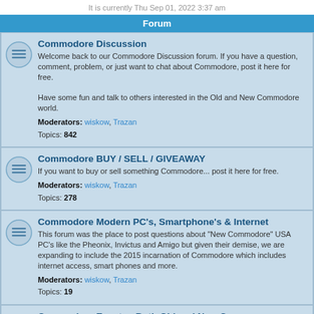It is currently Thu Sep 01, 2022 3:37 am
Forum
Commodore Discussion
Welcome back to our Commodore Discussion forum. If you have a question, comment, problem, or just want to chat about Commodore, post it here for free.
Have some fun and talk to others interested in the Old and New Commodore world.
Moderators: wiskow, Trazan
Topics: 842
Commodore BUY / SELL / GIVEAWAY
If you want to buy or sell something Commodore... post it here for free.
Moderators: wiskow, Trazan
Topics: 278
Commodore Modern PC's, Smartphone's & Internet
This forum was the place to post questions about "New Commodore" USA PC's like the Pheonix, Invictus and Amigo but given their demise, we are expanding to include the 2015 incarnation of Commodore which includes internet access, smart phones and more.
Moderators: wiskow, Trazan
Topics: 19
Commodore Events - Both Old and New C=
The place to discuss Commodore events, trade shows, gatherings... . This forum welcomes contect regarding Classic Commodore and the new 2006 Commodore.
Moderators: wiskow, Trazan
Topics: 216